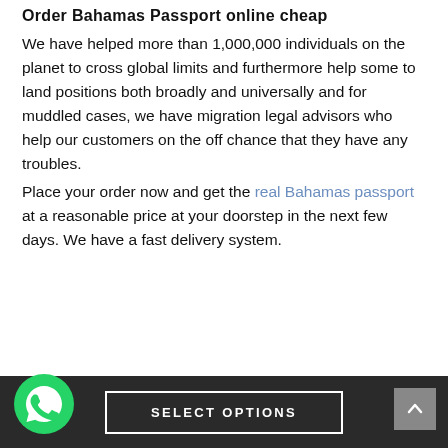Order Bahamas Passport online cheap
We have helped more than 1,000,000 individuals on the planet to cross global limits and furthermore help some to land positions both broadly and universally and for muddled cases, we have migration legal advisors who help our customers on the off chance that they have any troubles.
Place your order now and get the real Bahamas passport at a reasonable price at your doorstep in the next few days. We have a fast delivery system.
SELECT OPTIONS